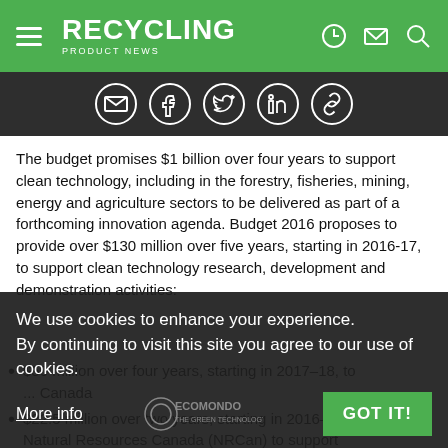RECYCLING PRODUCT NEWS
The budget promises $1 billion over four years to support clean technology, including in the forestry, fisheries, mining, energy and agriculture sectors to be delivered as part of a forthcoming innovation agenda. Budget 2016 proposes to provide over $130 million over five years, starting in 2016-17, to support clean technology research, development and demonstration activities:
$50 million over four years, starting in 2017–18, to ... Canada
$22.5 million over two years, starting in 2016–17, to Natural Resources Canada (NRCan) to support
We use cookies to enhance your experience. By continuing to visit this site you agree to our use of cookies.